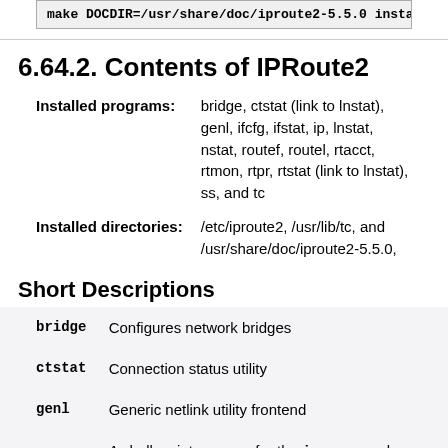make DOCDIR=/usr/share/doc/iproute2-5.5.0 install
6.64.2. Contents of IPRoute2
| Installed programs: | bridge, ctstat (link to lnstat), genl, ifcfg, ifstat, ip, lnstat, nstat, routef, routel, rtacct, rtmon, rtpr, rtstat (link to lnstat), ss, and tc |
| Installed directories: | /etc/iproute2, /usr/lib/tc, and /usr/share/doc/iproute2-5.5.0, |
Short Descriptions
| bridge | Configures network bridges |
| ctstat | Connection status utility |
| genl | Generic netlink utility frontend |
| ifcfg | A shell script wrapper for the ip command [Note that it |